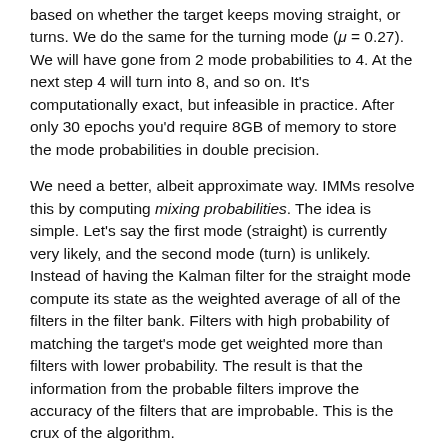based on whether the target keeps moving straight, or turns. We do the same for the turning mode (μ = 0.27). We will have gone from 2 mode probabilities to 4. At the next step 4 will turn into 8, and so on. It's computationally exact, but infeasible in practice. After only 30 epochs you'd require 8GB of memory to store the mode probabilities in double precision.
We need a better, albeit approximate way. IMMs resolve this by computing mixing probabilities. The idea is simple. Let's say the first mode (straight) is currently very likely, and the second mode (turn) is unlikely. Instead of having the Kalman filter for the straight mode compute its state as the weighted average of all of the filters in the filter bank. Filters with high probability of matching the target's mode get weighted more than filters with lower probability. The result is that the information from the probable filters improve the accuracy of the filters that are improbable. This is the crux of the algorithm.
What we need to do is very simple. Each Kalman filter performs the update step, computing a new mean and covariance. But then we compute a new mean and covariance for each filter as a weighted sum of these means and covariances according to mixing probabilities which we call ω. Likely filters will be slightly adjusted by the unlikely filters, and